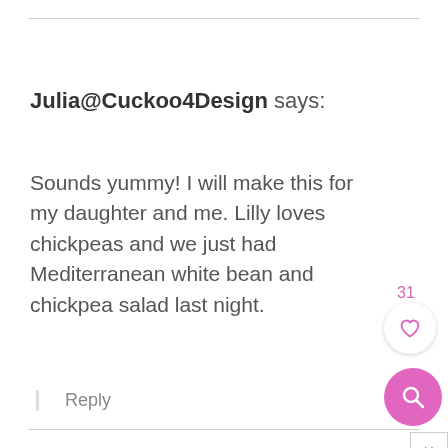Julia@Cuckoo4Design says:
Sounds yummy! I will make this for my daughter and me. Lilly loves chickpeas and we just had Mediterranean white bean and chickpea salad last night.
Reply